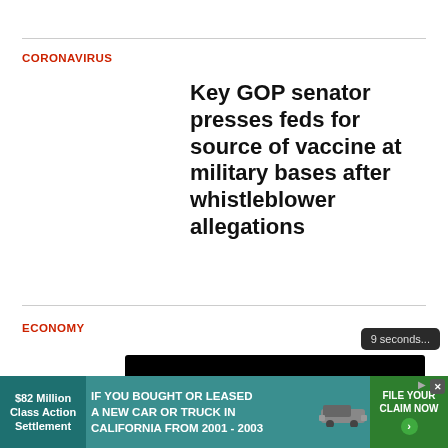CORONAVIRUS
Key GOP senator presses feds for source of vaccine at military bases after whistleblower allegations
ECONOMY
Ga. Dems blast bill strip... largest e... credits
[Figure (screenshot): Video player overlay showing '9 seconds...' timer, Enable audio button, black video area, and loading indicator]
[Figure (infographic): Advertisement banner: $82 Million Class Action Settlement - IF YOU BOUGHT OR LEASED A NEW CAR OR TRUCK IN CALIFORNIA FROM 2001 - 2003 - FILE YOUR CLAIM NOW]